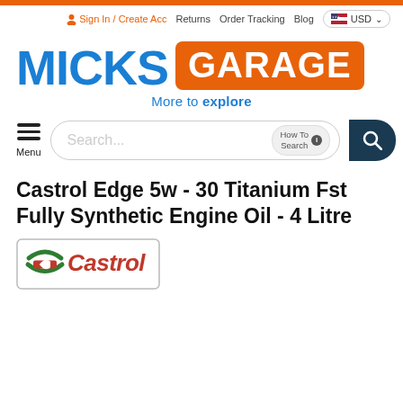Sign In / Create Acc   Returns   Order Tracking   Blog   USD
[Figure (logo): Micks Garage logo — 'MICKS' in bold blue text, 'GARAGE' in white on orange badge, tagline 'More to explore' in blue below]
Menu (hamburger icon) and Search bar with 'How To Search' button and search icon
Castrol Edge 5w - 30 Titanium Fst Fully Synthetic Engine Oil - 4 Litre
[Figure (logo): Castrol brand logo — green/red circular icon with 'Castrol' in red italic text, inside a rectangular border]